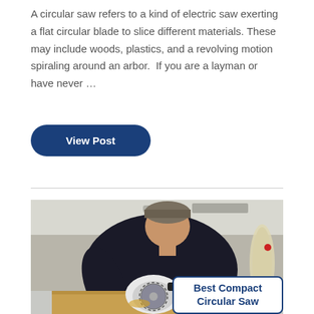A circular saw refers to a kind of electric saw exerting a flat circular blade to slice different materials. These may include woods, plastics, and a revolving motion spiraling around an arbor. If you are a layman or have never …
View Post
[Figure (photo): Person using a white compact circular saw on a workbench in a workshop setting, wearing a dark sweater and beanie hat. A white overlay badge in the bottom right reads 'Best Compact Circular Saw' in bold dark blue text.]